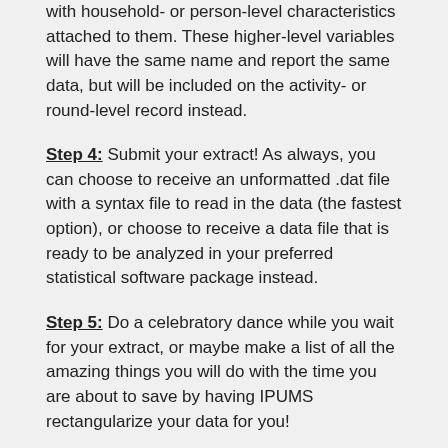with household- or person-level characteristics attached to them. These higher-level variables will have the same name and report the same data, but will be included on the activity- or round-level record instead.
Step 4: Submit your extract! As always, you can choose to receive an unformatted .dat file with a syntax file to read in the data (the fastest option), or choose to receive a data file that is ready to be analyzed in your preferred statistical software package instead.
Step 5: Do a celebratory dance while you wait for your extract, or maybe make a list of all the amazing things you will do with the time you are about to save by having IPUMS rectangularize your data for you!